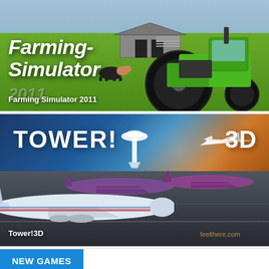[Figure (screenshot): Farming Simulator 2011 game cover image with green tractor, cows, barn and grass field background]
Farming Simulator 2011
[Figure (screenshot): Tower!3D game cover image with airport control tower logo, airplanes on tarmac at sunset]
Tower!3D
NEW GAMES